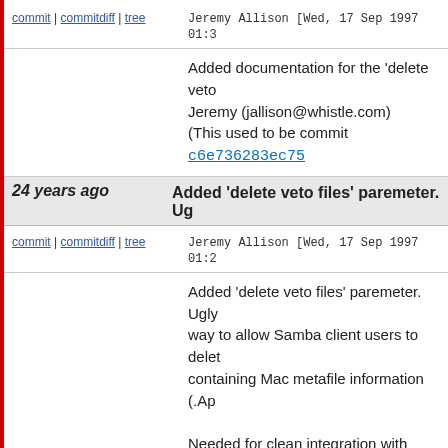commit | commitdiff | tree   Jeremy Allison [Wed, 17 Sep 1997 01:3...
Added documentation for the 'delete veto... Jeremy (jallison@whistle.com) (This used to be commit c6e736283ec75...
24 years ago   Added 'delete veto files' paremeter. Ug...
commit | commitdiff | tree   Jeremy Allison [Wed, 17 Sep 1997 01:2...
Added 'delete veto files' paremeter. Ugly way to allow Samba client users to delet... containing Mac metafile information (.Ap...

Needed for clean integration with netatal...

Jeremy (jallison@whistle.com)
(This used to be commit 29c6c037dc62e...
24 years ago   Fixing assumtions that malloced mem...
commit | commitdiff | tree   Jeremy Allison [Tue, 16 Sep 1997 17:4...
Fixing assumtions that malloced memory... sure it is.